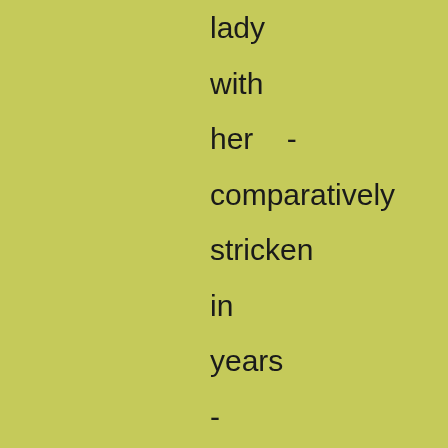lady with her - comparatively stricken in years - almost twenty, I should say. Her name was Miss Mills. and